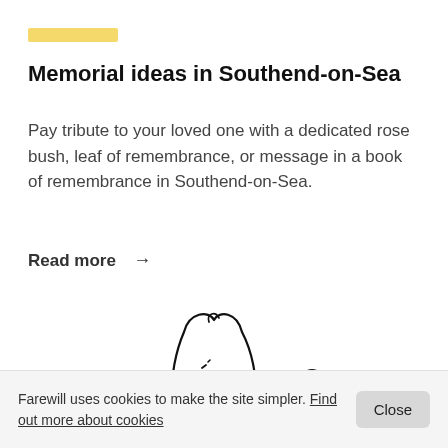[Figure (illustration): Yellow horizontal bar/highlight decoration at top left]
Memorial ideas in Southend-on-Sea
Pay tribute to your loved one with a dedicated rose bush, leaf of remembrance, or message in a book of remembrance in Southend-on-Sea.
Read more →
[Figure (illustration): Simple line drawing illustration of three abstract figures (people), partially cropped at the bottom of the page]
Farewill uses cookies to make the site simpler. Find out more about cookies